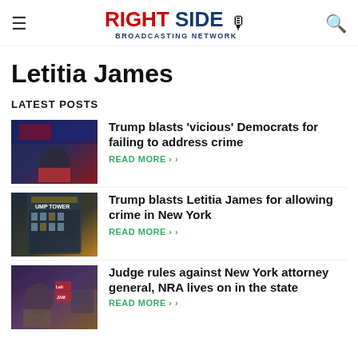RIGHT SIDE BROADCASTING NETWORK
Letitia James
LATEST POSTS
[Figure (photo): Photo of Donald Trump speaking at a rally with American flag backdrop]
Trump blasts 'vicious' Democrats for failing to address crime
READ MORE >
[Figure (photo): Photo of Trump Tower building exterior]
Trump blasts Letitia James for allowing crime in New York
READ MORE >
[Figure (photo): Photo of Letitia James at a campaign event with supporters and signs]
Judge rules against New York attorney general, NRA lives on in the state
READ MORE >